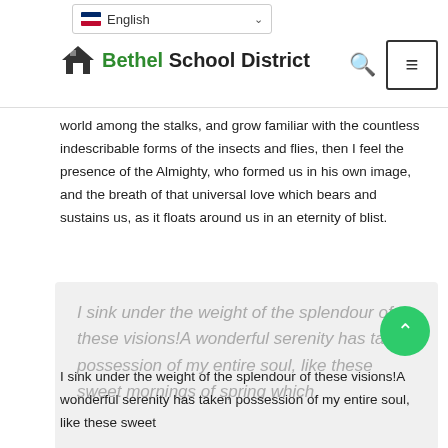English | Bethel School District
world among the stalks, and grow familiar with the countless indescribable forms of the insects and flies, then I feel the presence of the Almighty, who formed us in his own image, and the breath of that universal love which bears and sustains us, as it floats around us in an eternity of blist.
I sink under the weight of the splendour of these visions!A wonderful serenity has taken possession of my entire soul, like these sweet mornings of spring which
I sink under the weight of the splendour of these visions!A wonderful serenity has taken possession of my entire soul, like these sweet